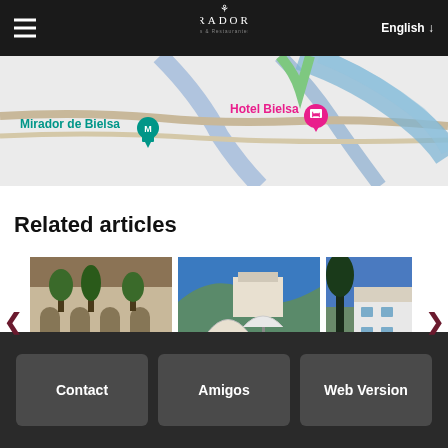Paradores Hoteles & Restaurantes 1928 — English
[Figure (map): Street map showing Mirador de Bielsa and Hotel Bielsa locations with map pins]
Related articles
[Figure (photo): Carousel of three hotel photos: courtyard with pool, outdoor dining with umbrellas, white hotel building exterior]
Contact | Amigos | Web Version